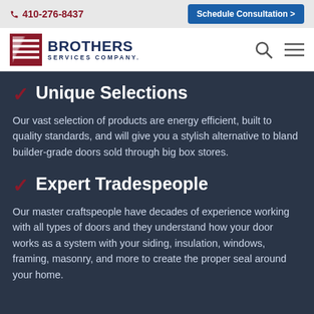410-276-8437 | Schedule Consultation >
[Figure (logo): Brothers Services Company logo with red diagonal stripes icon and dark blue text]
✓ Unique Selections
Our vast selection of products are energy efficient, built to quality standards, and will give you a stylish alternative to bland builder-grade doors sold through big box stores.
✓ Expert Tradespeople
Our master craftspeople have decades of experience working with all types of doors and they understand how your door works as a system with your siding, insulation, windows, framing, masonry, and more to create the proper seal around your home.